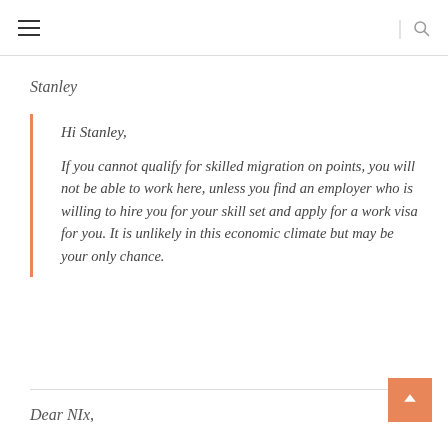≡  |  🔍
Stanley
Hi Stanley,

If you cannot qualify for skilled migration on points, you will not be able to work here, unless you find an employer who is willing to hire you for your skill set and apply for a work visa for you. It is unlikely in this economic climate but may be your only chance.
Dear NIx,
Good day!